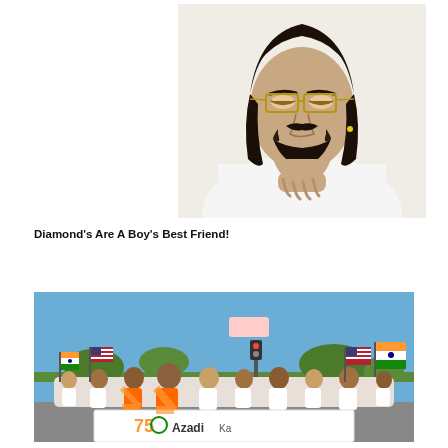[Figure (photo): A man with long dark hair, a beard, gold-rimmed aviator glasses, and a white shirt, posed with his hand near his chin in a contemplative pose against a light background.]
Diamond's Are A Boy's Best Friend!
[Figure (photo): A group of people outdoors on a sunny day waving Indian and American flags. They are holding a white banner reading '75 Azadi Ka' celebrating India's 75th independence anniversary.]